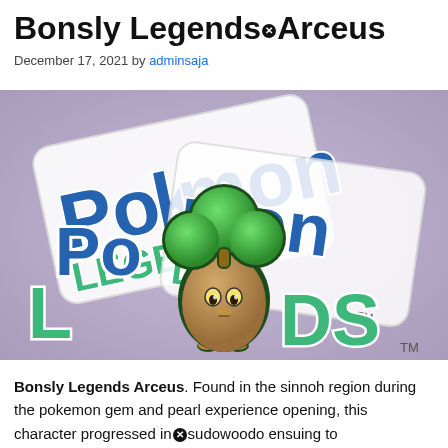Bonsly Legends Arceus
December 17, 2021 by adminsaja
[Figure (photo): Bonsly Pokémon character overlaid on the Pokémon Legends Arceus game logo against a purple/lavender background. The Bonsly character has green spherical bulbs on top and a cone-shaped brown body with a face. The background shows the Pokémon Legends logo text in blue and teal.]
Bonsly Legends Arceus. Found in the sinnoh region during the pokemon gem and pearl experience opening, this character progressed into sudowoodo ensuing to